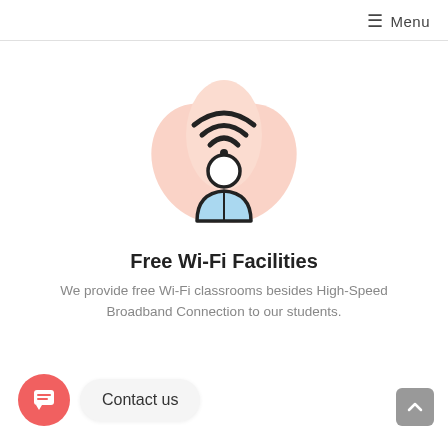≡ Menu
[Figure (illustration): A person icon with Wi-Fi signal waves above their head, set against a soft pink/peach star or splash shape background. The person wears a light blue shirt. Icon style is line-art with color fill.]
Free Wi-Fi Facilities
We provide free Wi-Fi classrooms besides High-Speed Broadband Connection to our students.
Contact us